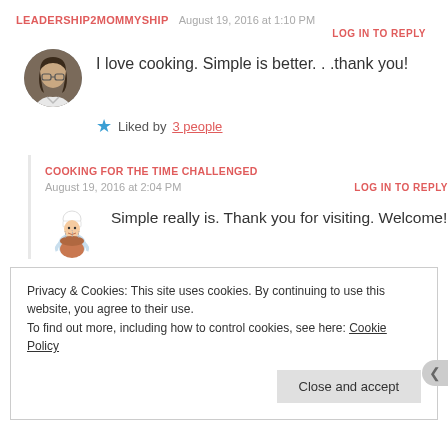LEADERSHIP2MOMMYSHIP   August 19, 2016 at 1:10 PM
LOG IN TO REPLY
I love cooking. Simple is better. . .thank you!
Liked by 3 people
COOKING FOR THE TIME CHALLENGED
August 19, 2016 at 2:04 PM
LOG IN TO REPLY
Simple really is. Thank you for visiting. Welcome!
Privacy & Cookies: This site uses cookies. By continuing to use this website, you agree to their use. To find out more, including how to control cookies, see here: Cookie Policy
Close and accept